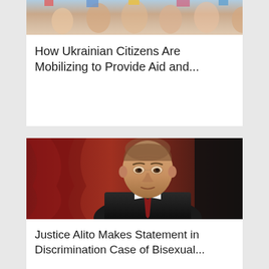[Figure (photo): Top portion of a photo showing a crowd of people, partially cropped at top of page]
How Ukrainian Citizens Are Mobilizing to Provide Aid and...
[Figure (photo): Portrait photo of Justice Samuel Alito in judicial robes against a red curtain and dark background]
Justice Alito Makes Statement in Discrimination Case of Bisexual...